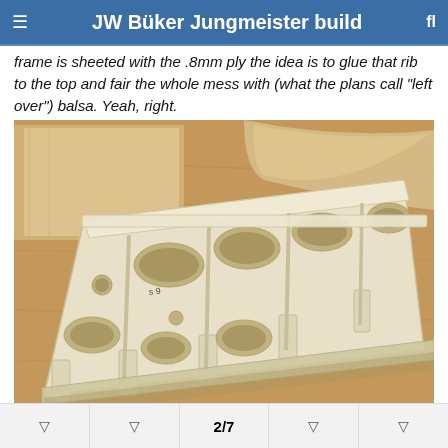JW Büker Jungmeister build
frame is sheeted with the .8mm ply the idea is to glue that rib to the top and fair the whole mess with (what the plans call "left over") balsa. Yeah, right.
[Figure (photo): Photo of a model aircraft wing frame/rib structure made from light-colored (cream/beige) plywood or balsa, with multiple oval cutouts for weight reduction, resting on a wooden workbench surface. Additional wood pieces visible in background.]
2/7